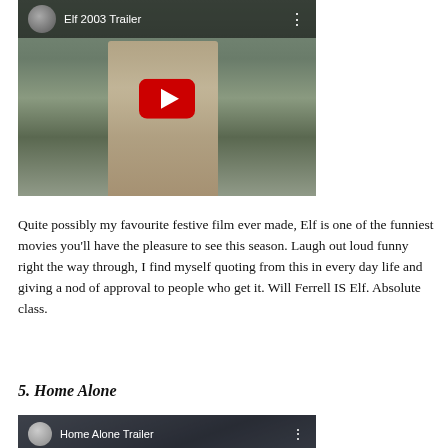[Figure (screenshot): YouTube video thumbnail for 'Elf 2003 Trailer' showing a person in a winter coat in a snowy park with a red YouTube play button overlay]
Quite possibly my favourite festive film ever made, Elf is one of the funniest movies you'll have the pleasure to see this season. Laugh out loud funny right the way through, I find myself quoting from this in every day life and giving a nod of approval to people who get it. Will Ferrell IS Elf. Absolute class.
5. Home Alone
[Figure (screenshot): YouTube video thumbnail for 'Home Alone Trailer' partially visible at bottom of page]